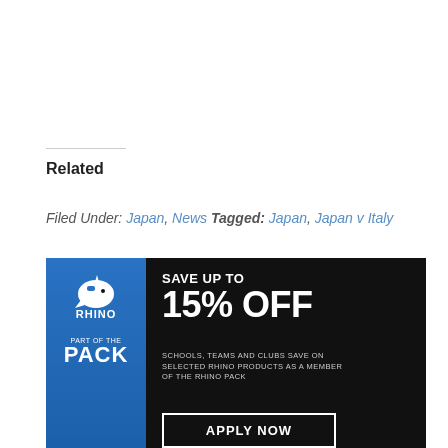Related
Filed Under: Japan, News Tagged: Japan, Japan v Italy
[Figure (illustration): Rhino rugby advertisement banner. Blue and dark background. Left panel: Rhino logo with text 'PART OF THE PACK'. Right panel: large text 'SAVE UP TO 15% OFF'. Subtext: 'SCHOOLS, TEAMS AND CLUBS SAVE ON SELECTED RHINO PRODUCTS AS A MEMBER OF THE RHINO PACK'. Button: 'APPLY NOW'.]